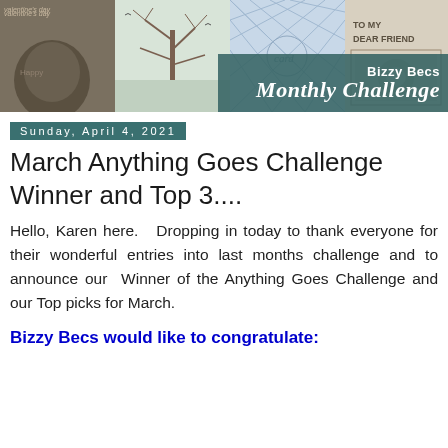[Figure (illustration): Bizzy Becs Monthly Challenge banner with four collaged card images and teal overlay with brand name and 'Monthly Challenge' italic text]
Sunday, April 4, 2021
March Anything Goes Challenge Winner and Top 3....
Hello, Karen here.   Dropping in today to thank everyone for their wonderful entries into last months challenge and to announce our  Winner of the Anything Goes Challenge and our Top picks for March.
Bizzy Becs would like to congratulate: